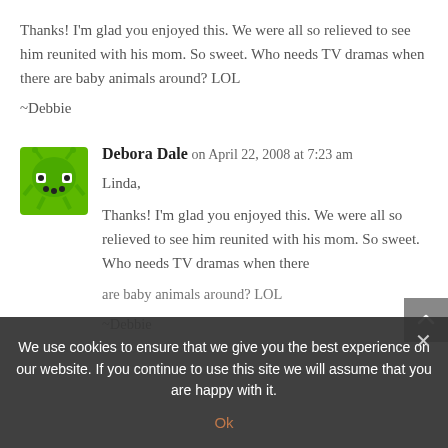Thanks! I'm glad you enjoyed this. We were all so relieved to see him reunited with his mom. So sweet. Who needs TV dramas when there are baby animals around? LOL
~Debbie
Debora Dale on April 22, 2008 at 7:23 am
Linda,
Thanks! I'm glad you enjoyed this. We were all so relieved to see him reunited with his mom. So sweet. Who needs TV dramas when there are baby animals around? LOL
~Debbie
We use cookies to ensure that we give you the best experience on our website. If you continue to use this site we will assume that you are happy with it.
Ok